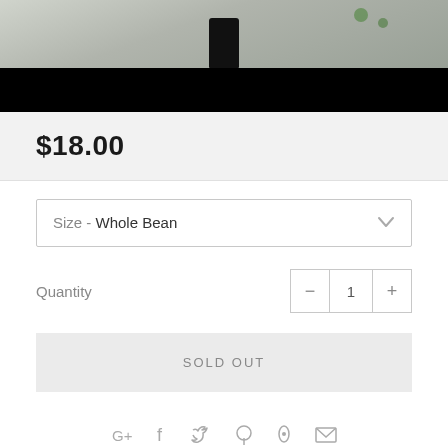[Figure (photo): Product photo strip showing a dark black object on a wooden surface with green leaves, partially cropped at top]
$18.00
Size - Whole Bean
Quantity
SOLD OUT
[Figure (infographic): Social sharing icons: Google+, Facebook, Twitter, Pinterest, Fancy, Email]